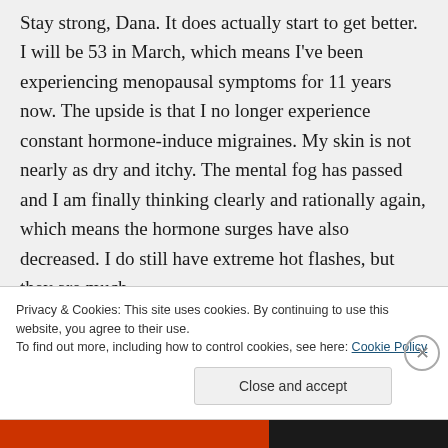Stay strong, Dana. It does actually start to get better. I will be 53 in March, which means I've been experiencing menopausal symptoms for 11 years now. The upside is that I no longer experience constant hormone-induce migraines. My skin is not nearly as dry and itchy. The mental fog has passed and I am finally thinking clearly and rationally again, which means the hormone surges have also decreased. I do still have extreme hot flashes, but they are much
Privacy & Cookies: This site uses cookies. By continuing to use this website, you agree to their use.
To find out more, including how to control cookies, see here: Cookie Policy
Close and accept